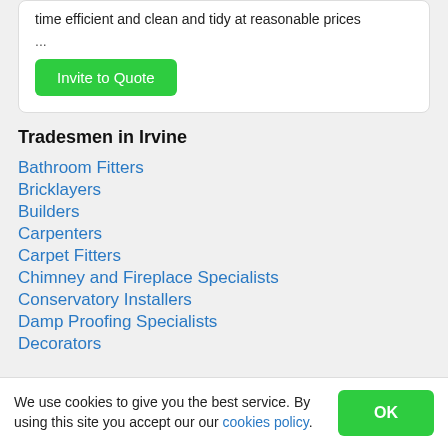time efficient and clean and tidy at reasonable prices
...
Invite to Quote
Tradesmen in Irvine
Bathroom Fitters
Bricklayers
Builders
Carpenters
Carpet Fitters
Chimney and Fireplace Specialists
Conservatory Installers
Damp Proofing Specialists
Decorators
We use cookies to give you the best service. By using this site you accept our our cookies policy.